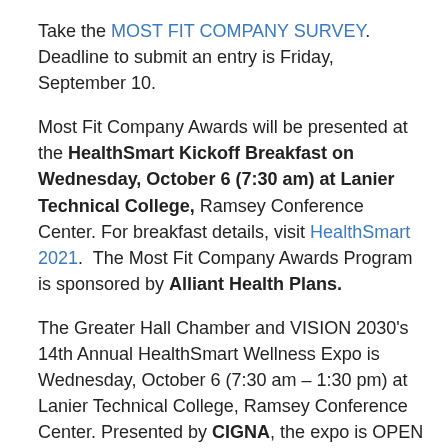Take the MOST FIT COMPANY SURVEY.  Deadline to submit an entry is Friday, September 10.
Most Fit Company Awards will be presented at the HealthSmart Kickoff Breakfast on Wednesday, October 6 (7:30 am) at Lanier Technical College, Ramsey Conference Center. For breakfast details, visit HealthSmart 2021.  The Most Fit Company Awards Program is sponsored by Alliant Health Plans.
The Greater Hall Chamber and VISION 2030's 14th Annual HealthSmart Wellness Expo is Wednesday, October 6 (7:30 am – 1:30 pm) at Lanier Technical College, Ramsey Conference Center. Presented by CIGNA, the expo is OPEN TO THE PUBLIC and promotes wellness with FREE COMMUNITY HEALTH SCREENINGS and 60+ WELLNESS EXHIBITORS. A